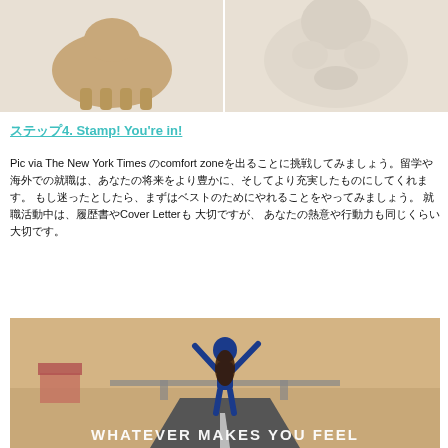[Figure (photo): Two dogs (one tan, one white/fluffy) photographed side by side on a light background, partial top view]
ステップ4. Stamp! You're in!
Pic via The New York Times のcomfort zoneを出ることに挑戦してみましょう。留学や海外での就職は、あなたの将来をより豊かに、そしてより充実したものにしてくれます。 もし迷ったとしたら、まずはベストのためにやれることをやってみましょう。 就職活動中は、履歴書やCover Letterも 大切ですが、 あなたの熱意や行動力も同じくらい大切です。
[Figure (photo): Person from behind with arms raised in a victory pose, standing on a road with a bridge and flat landscape in background. Text overlay at the bottom reads: WHATEVER MAKES YOU FEEL]